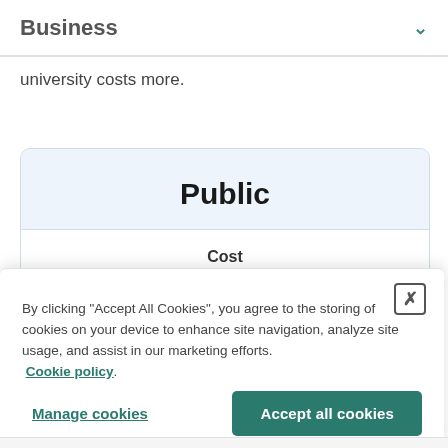Business
university costs more.
Public
Cost
By clicking “Accept All Cookies”, you agree to the storing of cookies on your device to enhance site navigation, analyze site usage, and assist in our marketing efforts. Cookie policy.
Manage cookies
Accept all cookies